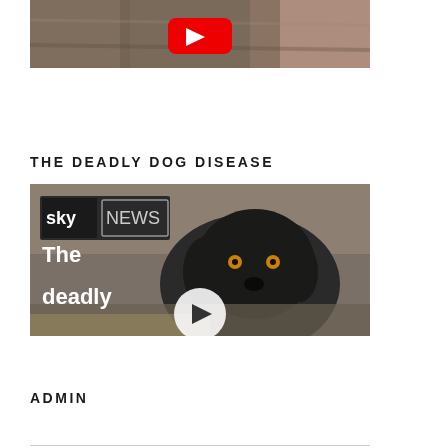[Figure (screenshot): Partial image of a dog (close-up, fur visible) with a red YouTube play button overlay, cropped at top of page]
THE DEADLY DOG DISEASE
[Figure (screenshot): Sky News video thumbnail showing a black Springer Spaniel dog outdoors on rocky terrain, with Sky News logo and text 'The deadly' partially visible, along with a circular play button]
ADMIN